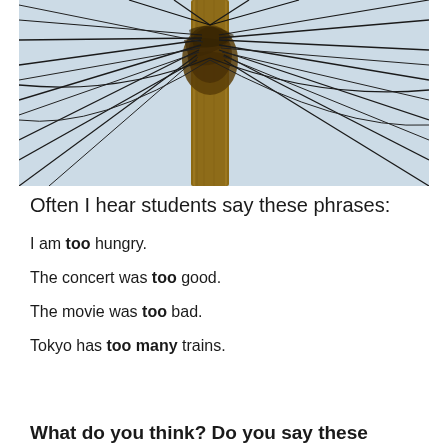[Figure (photo): A utility pole with a large tangle of electrical wires and cables radiating outward in many directions against a pale blue sky.]
Often I hear students say these phrases:
I am too hungry.
The concert was too good.
The movie was too bad.
Tokyo has too many trains.
What do you think? Do you say these